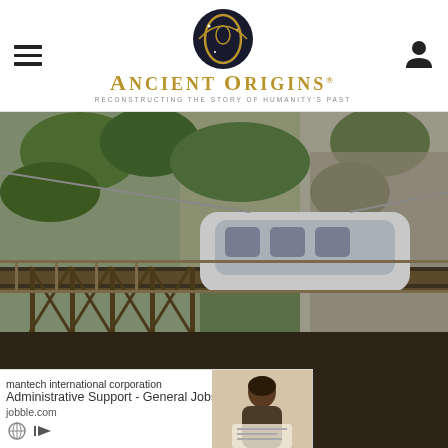Ancient Origins — Reconstructing the Story of Humanity's Past
[Figure (photo): A funicular or cable car tram vehicle passing over a metal trestle bridge against a rocky cliff face covered in lush green vegetation.]
Ancient Origins © 2013 - 2022
Disclaimer - Terms of Publication - Privacy Policy & Cookies - Advertising Policy - Submissions - We Give Back - Contact us
A project of Stella Novus
[Figure (screenshot): Advertisement overlay: 'humantech international corporation — Administrative Support - General Jobs in… — jobble.com' with a photo of a woman looking at documents and ad control icons.]